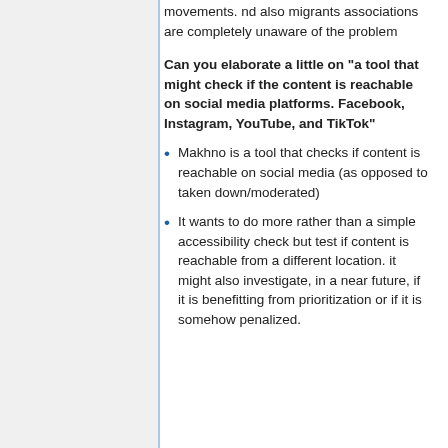movements. nd also migrants associations are completely unaware of the problem
Can you elaborate a little on "a tool that might check if the content is reachable on social media platforms. Facebook, Instagram, YouTube, and TikTok"
Makhno is a tool that checks if content is reachable on social media (as opposed to taken down/moderated)
It wants to do more rather than a simple accessibility check but test if content is reachable from a different location. it might also investigate, in a near future, if it is benefitting from prioritization or if it is somehow penalized.